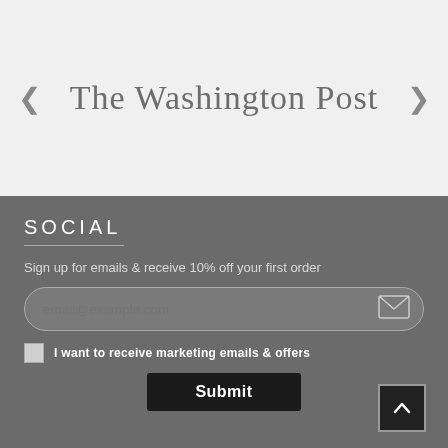[Figure (logo): The Washington Post masthead logo in old English blackletter font, centered in a light gray banner with left and right navigation arrows]
SOCIAL
Sign up for emails & receive 10% off your first order
[Figure (screenshot): Email input field with placeholder text email@example.com and envelope icon on the right, with rounded pill shape]
I want to receive marketing emails & offers
Submit